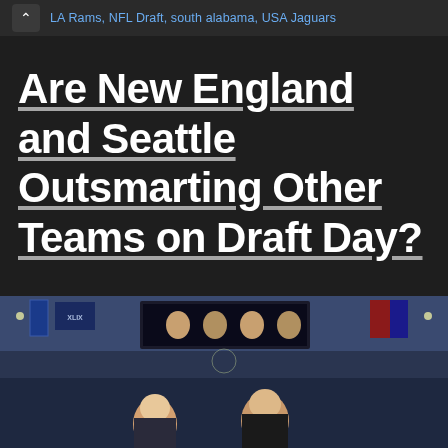LA Rams, NFL Draft, south alabama, USA Jaguars
Are New England and Seattle Outsmarting Other Teams on Draft Day?
[Figure (photo): Photo of two coaches on the sideline or field at a Super Bowl event, with stadium backdrop showing banners and crowd in the background.]